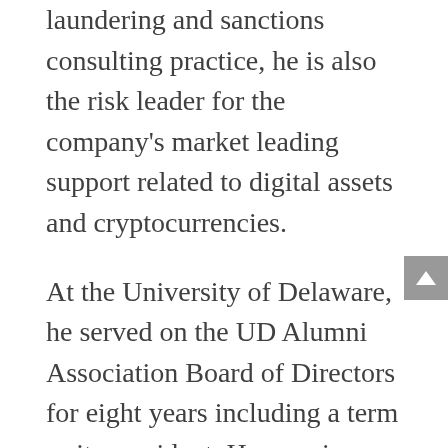laundering and sanctions consulting practice, he is also the risk leader for the company's market leading support related to digital assets and cryptocurrencies.
At the University of Delaware, he served on the UD Alumni Association Board of Directors for eight years including a term as its president. He remains a volunteer as a mentor and advocate for UD students. He is currently a member of the Audit Visiting Committee for the UD Board of Trustees.
“Steve was the key ambassador with UD administration and the Board of Trustees to get the UDAA Alumni Circle project approved